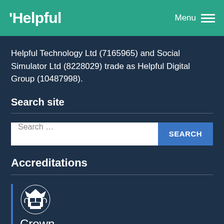Helpful | Menu
Helpful Technology Ltd (7165965) and Social Simulator Ltd (8228029) trade as Helpful Digital Group (10487998).
Search site
Accreditations
[Figure (logo): Crown commercial service logo with coat of arms emblem and 'Crown' text]